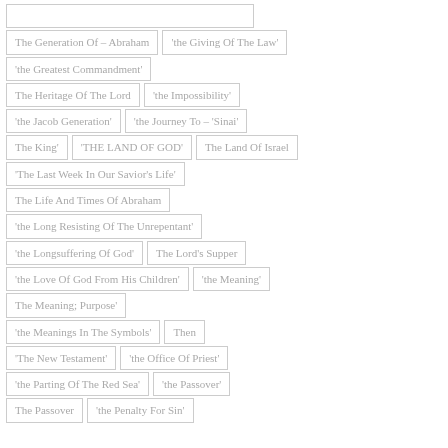The Generation Of – Abraham
'the Giving Of The Law'
'the Greatest Commandment'
The Heritage Of The Lord
'the Impossibility'
'the Jacob Generation'
'the Journey To – 'Sinai'
The King'
'THE LAND OF GOD'
The Land Of Israel
'The Last Week In Our Savior's Life'
The Life And Times Of Abraham
'the Long Resisting Of The Unrepentant'
'the Longsuffering Of God'
The Lord's Supper
'the Love Of God From His Children'
'the Meaning'
The Meaning; Purpose'
'the Meanings In The Symbols'
Then
'The New Testament'
'the Office Of Priest'
'the Parting Of The Red Sea'
'the Passover'
The Passover
'the Penalty For Sin'